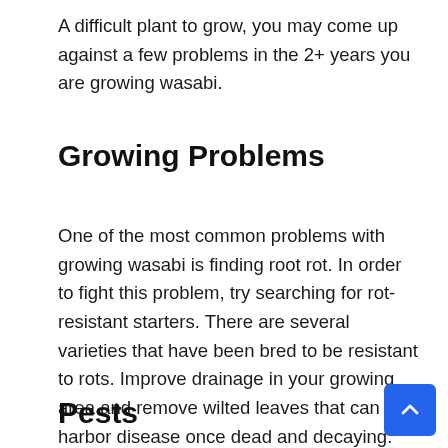A difficult plant to grow, you may come up against a few problems in the 2+ years you are growing wasabi.
Growing Problems
One of the most common problems with growing wasabi is finding root rot. In order to fight this problem, try searching for rot-resistant starters. There are several varieties that have been bred to be resistant to rots. Improve drainage in your growing area and remove wilted leaves that can harbor disease once dead and decaying.
Pests